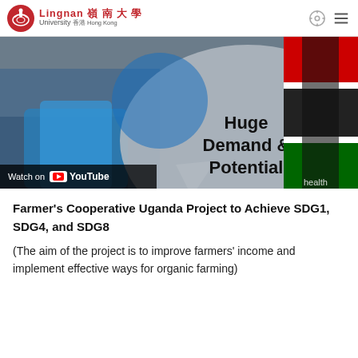Lingnan 嶺南大學 University 香港 Hong Kong
[Figure (screenshot): YouTube video thumbnail showing hands and a Kenyan flag in background, with a grey speech bubble overlay reading 'Huge Demand & Potential', and a 'Watch on YouTube' bar at the bottom.]
Farmer's Cooperative Uganda Project to Achieve SDG1, SDG4, and SDG8
(The aim of the project is to improve farmers' income and implement effective ways for organic farming)